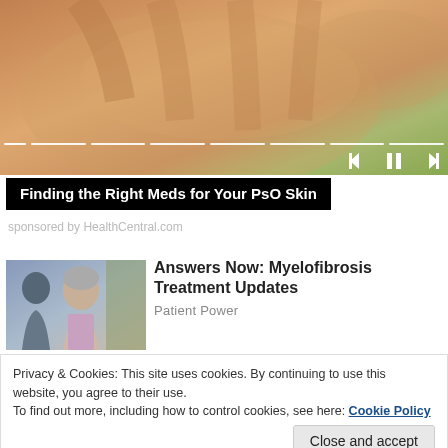[Figure (photo): Close-up of hands being held, with a green blurred background — slideshow thumbnail for medication article]
Finding the Right Meds for Your PsO Skin
sponsored by HealthCentral.com
[Figure (photo): Doctor consulting with an elderly woman patient — thumbnail for Myelofibrosis article]
Answers Now: Myelofibrosis Treatment Updates
Patient Power
Privacy & Cookies: This site uses cookies. By continuing to use this website, you agree to their use.
To find out more, including how to control cookies, see here: Cookie Policy
Close and accept